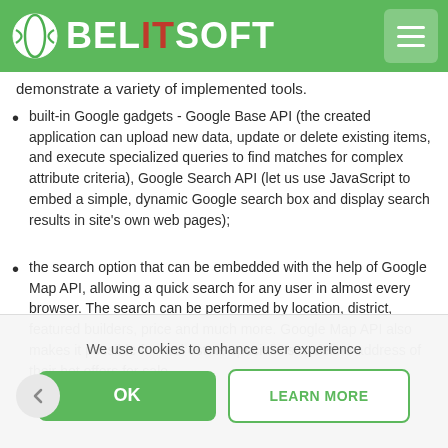BELITSOFT
demonstrate a variety of implemented tools.
built-in Google gadgets - Google Base API (the created application can upload new data, update or delete existing items, and execute specialized queries to find matches for complex attribute criteria), Google Search API (let us use JavaScript to embed a simple, dynamic Google search box and display search results in site's own web pages);
the search option that can be embedded with the help of Google Map API, allowing a quick search for any user in almost every browser. The search can be performed by location, district, featured builders, price and much more. Google Map API also makes it possible for real estate specialists to define address of their hot offers for sale
We use cookies to enhance user experience